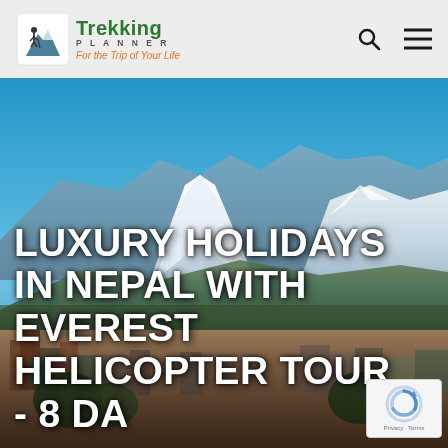[Figure (photo): Aerial/elevated panoramic photo of a Himalayan city (likely Pokhara, Nepal) with snow-capped mountain peaks (Machhapuchhre/Fishtail) dominating the background under a bright blue sky, with dense urban settlement in the foreground.]
Trekking Planner – For the Trip of Your Life
LUXURY HOLIDAYS IN NEPAL WITH EVEREST HELICOPTER TOUR - 8 DA...